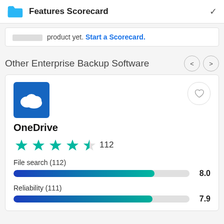Features Scorecard
product yet. Start a Scorecard.
Other Enterprise Backup Software
[Figure (logo): OneDrive logo - white cloud icon on blue square background]
OneDrive
[Figure (other): 4 out of 5 teal stars rating with 112 reviews]
File search (112)
[Figure (other): Progress bar showing score 8.0 out of 10, approximately 80% filled with blue-to-teal gradient]
Reliability (111)
[Figure (other): Progress bar showing score 7.9 out of 10, approximately 79% filled with blue-to-teal gradient]